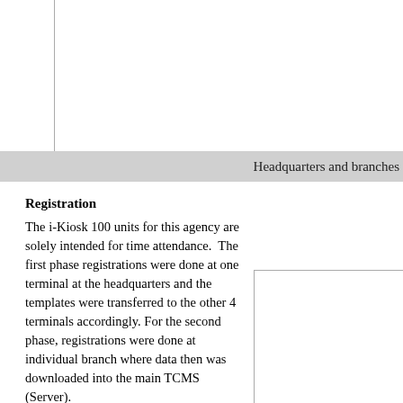[Figure (other): Top portion of a chart or image partially visible, with a border on left and bottom sides]
Headquarters and branches
Registration
The i-Kiosk 100 units for this agency are solely intended for time attendance. The first phase registrations were done at one terminal at the headquarters and the templates were transferred to the other 4 terminals accordingly. For the second phase, registrations were done at individual branch where data then was downloaded into the main TCMS (Server).
[Figure (other): Partial image or chart box on the right side of the page]